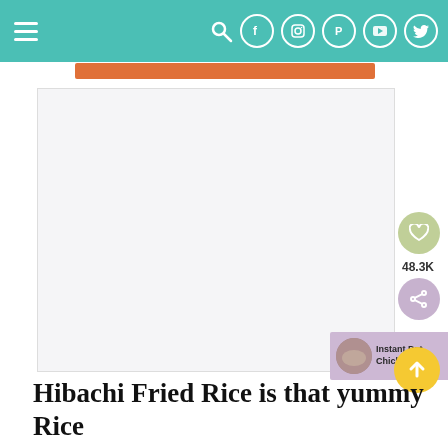Navigation bar with hamburger menu, search icon, and social media icons (Facebook, Instagram, Pinterest, YouTube, Twitter)
[Figure (screenshot): Website screenshot showing a recipe page for Hibachi Fried Rice. Orange banner bar near top. Large light-colored main content area. Side panel with save/share buttons, share count 48.3K, and a related recipe card for 'Instant Pot Chicken Frie...' with thumbnail. Yellow scroll-to-top button.]
Hibachi Fried Rice is that yummy Rice